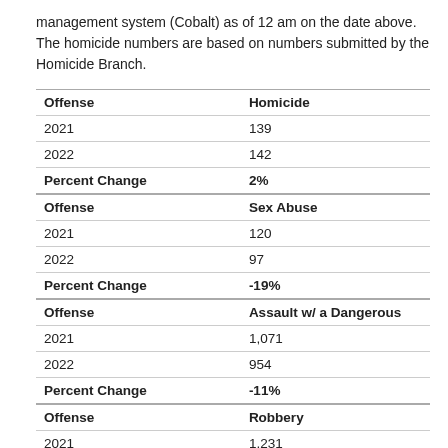management system (Cobalt) as of 12 am on the date above. The homicide numbers are based on numbers submitted by the Homicide Branch.
| Offense | Homicide |
| --- | --- |
| 2021 | 139 |
| 2022 | 142 |
| Percent Change | 2% |
| Offense | Sex Abuse |
| 2021 | 120 |
| 2022 | 97 |
| Percent Change | -19% |
| Offense | Assault w/ a Dangerous |
| 2021 | 1,071 |
| 2022 | 954 |
| Percent Change | -11% |
| Offense | Robbery |
| 2021 | 1,231 |
| 2022 | 1,412 |
| Percent Change | 15% |